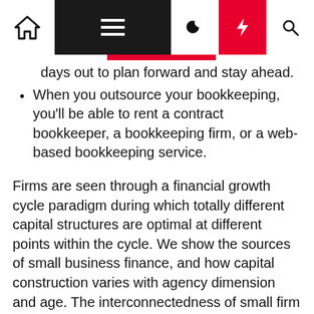Navigation bar with home, menu, moon, bolt, and search icons
days out to plan forward and stay ahead.
When you outsource your bookkeeping, you'll be able to rent a contract bookkeeper, a bookkeeping firm, or a web-based bookkeeping service.
Firms are seen through a financial growth cycle paradigm during which totally different capital structures are optimal at different points within the cycle. We show the sources of small business finance, and how capital construction varies with agency dimension and age. The interconnectedness of small firm Business finance is mentioned along with the impact of the macroeconomic environment. We additionally analyze a variety of analysis and coverage points, review the literature